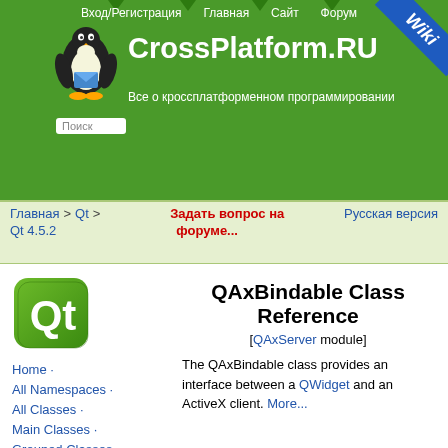Вход/Регистрация  Главная  Сайт  Форум
CrossPlatform.RU
Все о кроссплатформенном программировании
Главная > Qt > Qt 4.5.2    Задать вопрос на форуме...    Русская версия
Home ·
All Namespaces ·
All Classes ·
Main Classes ·
Grouped Classes ·
Modules ·
Functions
QAxBindable Class Reference
[QAxServer module]
The QAxBindable class provides an interface between a QWidget and an ActiveX client. More...